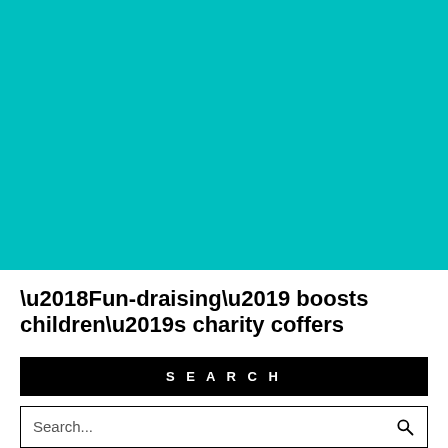[Figure (photo): Large teal/turquoise colored rectangle filling the top portion of the page]
‘Fun-draising’ boosts children’s charity coffers
SEARCH
Search...